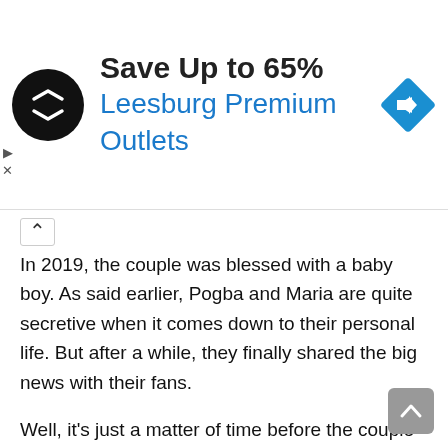[Figure (infographic): Advertisement banner: black circular logo with double arrow symbol, bold text 'Save Up to 65%', blue text 'Leesburg Premium Outlets', blue diamond navigation icon on the right]
In 2019, the couple was blessed with a baby boy. As said earlier, Pogba and Maria are quite secretive when it comes down to their personal life. But after a while, they finally shared the big news with their fans.
Well, it's just a matter of time before the couple comes up with another surprise for their fans. Be prepared!